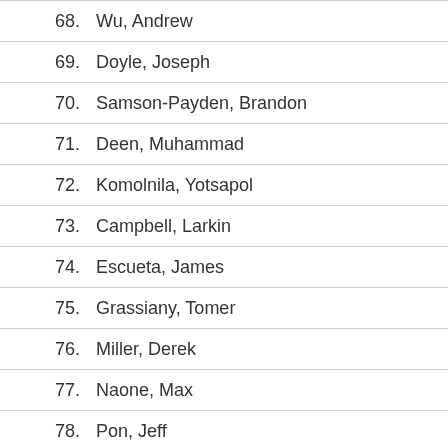68. Wu, Andrew
69. Doyle, Joseph
70. Samson-Payden, Brandon
71. Deen, Muhammad
72. Komolnila, Yotsapol
73. Campbell, Larkin
74. Escueta, James
75. Grassiany, Tomer
76. Miller, Derek
77. Naone, Max
78. Pon, Jeff
79. Chiew, Joseph
80. Gray, Kevin
81. Webb, Eric
82. Claviio, Andrew